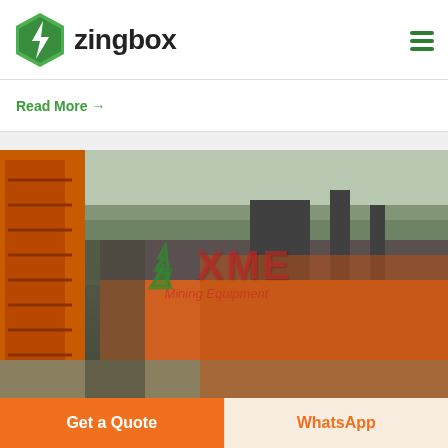[Figure (logo): Zingbox logo with green hexagon lightning bolt icon and bold text 'zingbox']
Read More →
[Figure (photo): Industrial mining equipment site with orange conveyor/crane on left and heavy orange machinery in center, trees in background, XME Mining Equipment watermark overlay]
Get a Quote
WhatsApp